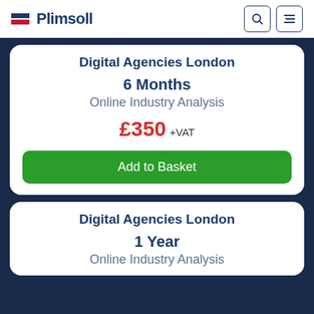Plimsoll
Digital Agencies London
6 Months
Online Industry Analysis
£350 +VAT
Add to Basket
Digital Agencies London
1 Year
Online Industry Analysis